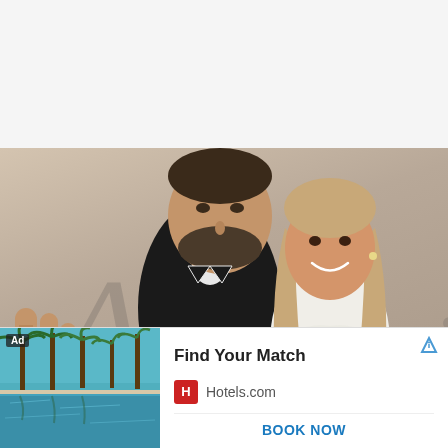[Figure (photo): Photo of two celebrities (a man and a woman) posing together at what appears to be a red carpet or event, with a decorative script watermark in the background. A hand is visible at the lower left edge of the frame. A close/X button appears at the lower right corner of the photo.]
[Figure (infographic): Advertisement banner for Hotels.com. Shows a resort pool with palm trees. Ad label in top-left. AdChoices icon top-right. Text: 'Find Your Match', Hotels.com logo and name, 'BOOK NOW' button at bottom.]